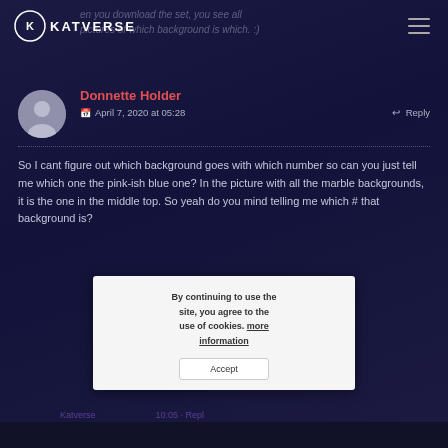KATVERSE
en you download the set, you see all pictures of which background is which. :)
Donnette Holder
April 7, 2020 at 05:28
Reply
So I cant figure out which background goes with which number so can you just tell me which one the pink-ish blue one? In the picture with all the marble backgrounds, it is the one in the middle top. So yeah do you mind telling me which # that background is?
By continuing to use the site, you agree to the use of cookies. more information
Accept